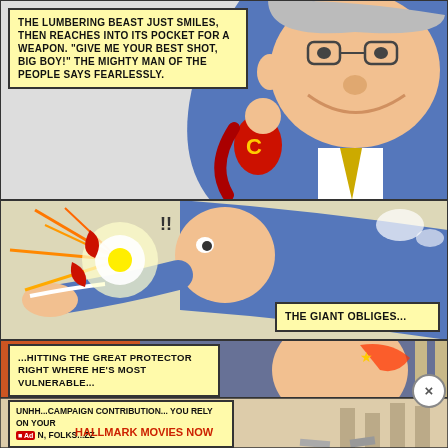[Figure (illustration): Political comic strip page with three panels. Panel 1 (top): A large smiling fat man in a blue suit with a small superhero figure with 'C' on chest reaching into pocket. Panel 2 (middle): Action scene where the giant figure shoots/strikes the small superhero who explodes. Panel 3 (bottom): The aftermath with the large man hit by campaign contribution attack, with an advertisement overlay for Hallmark Movies Now.]
THE LUMBERING BEAST JUST SMILES, THEN REACHES INTO ITS POCKET FOR A WEAPON. "GIVE ME YOUR BEST SHOT, BIG BOY!" THE MIGHTY MAN OF THE PEOPLE SAYS FEARLESSLY.
THE GIANT OBLIGES...
...HITTING THE GREAT PROTECTOR RIGHT WHERE HE'S MOST VULNERABLE...
UNHH...CAMPAIGN CONTRIBUTION... YOU RELY ON YOUR HALLMARK MOVIES NOW Ad N, FOLKS...ZZ